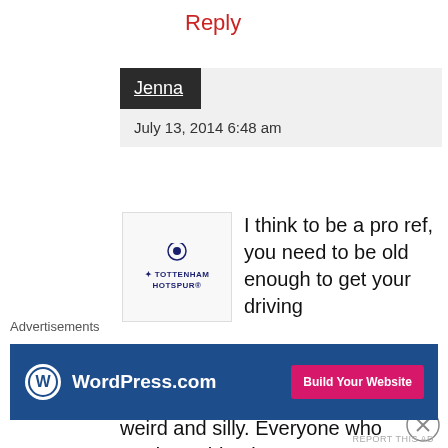Reply
Jenna
July 13, 2014 6:48 am
[Figure (logo): Tottenham Hotspur logo with football club crest]
I think to be a pro ref, you need to be old enough to get your driving license, so...
Yeah the jibe about Webb was weird and silly. Everyone who reads my blog knows I'm more
Advertisements
[Figure (screenshot): WordPress.com advertisement banner with Build Your Website button]